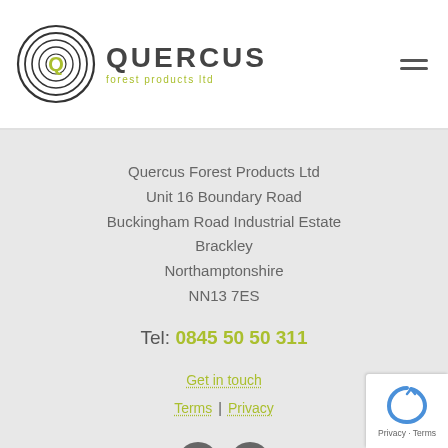[Figure (logo): Quercus Forest Products Ltd logo with circular tree ring icon and company name]
Quercus Forest Products Ltd
Unit 16 Boundary Road
Buckingham Road Industrial Estate
Brackley
Northamptonshire
NN13 7ES
Tel: 0845 50 50 311
Get in touch
Terms | Privacy
[Figure (illustration): LinkedIn and Facebook social media icons in dark grey circles]